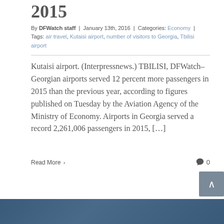2015
By DFWatch staff | January 13th, 2016 | Categories: Economy | Tags: air travel, Kutaisi airport, number of visitors to Georgia, Tbilisi airport
Kutaisi airport. (Interpressnews.) TBILISI, DFWatch–Georgian airports served 12 percent more passengers in 2015 than the previous year, according to figures published on Tuesday by the Aviation Agency of the Ministry of Economy. Airports in Georgia served a record 2,261,006 passengers in 2015, […]
Read More > 0
[Figure (photo): Dark blue image bar at the bottom of the page]